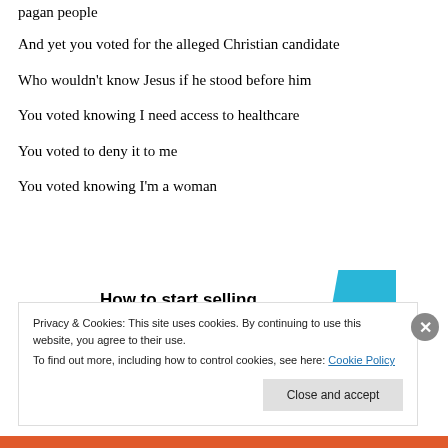pagan people
And yet you voted for the alleged Christian candidate
Who wouldn't know Jesus if he stood before him
You voted knowing I need access to healthcare
You voted to deny it to me
You voted knowing I'm a woman
[Figure (infographic): Advertisement banner: 'How to start selling subscriptions online' with cyan/blue geometric shape]
Privacy & Cookies: This site uses cookies. By continuing to use this website, you agree to their use.
To find out more, including how to control cookies, see here: Cookie Policy
Close and accept